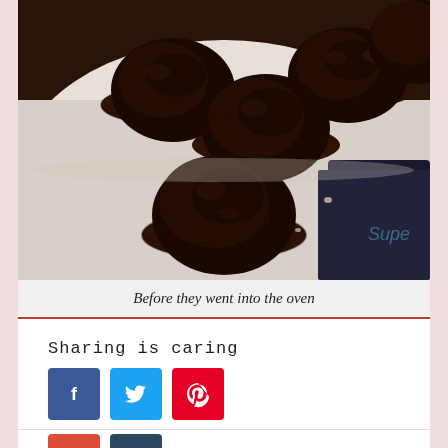[Figure (photo): Chocolate cupcakes with dark chocolate ganache frosting in paper liners on a white tray, viewed from above before baking.]
Before they went into the oven
Sharing is caring
[Figure (infographic): Social sharing buttons: Facebook, Twitter, Pinterest, Google+, Tumblr]